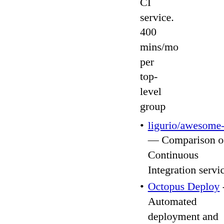CI service. 400 mins/mo per top-level group
ligurio/awesome-ci — Comparison of Continuous Integration services
Octopus Deploy - Automated deployment and release-management. Free for <=